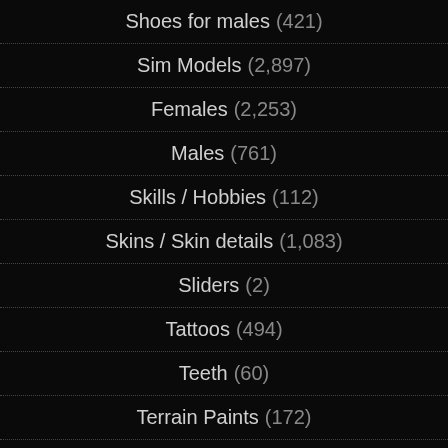Shoes for males (421)
Sim Models (2,897)
Females (2,253)
Males (761)
Skills / Hobbies (112)
Skins / Skin details (1,083)
Sliders (2)
Tattoos (494)
Teeth (60)
Terrain Paints (172)
Tools (46)
Toys (130)
Tutorials (92)